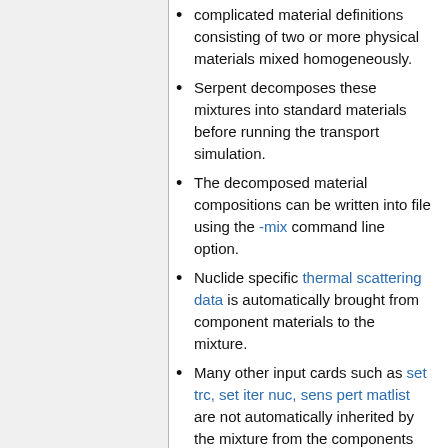complicated material definitions consisting of two or more physical materials mixed homogeneously.
Serpent decomposes these mixtures into standard materials before running the transport simulation.
The decomposed material compositions can be written into file using the -mix command line option.
Nuclide specific thermal scattering data is automatically brought from component materials to the mixture.
Many other input cards such as set trc, set iter nuc, sens pert matlist are not automatically inherited by the mixture from the components and should be directly defined using the mixture material name (opposed to component material names) if they are to be applied to the mixture.